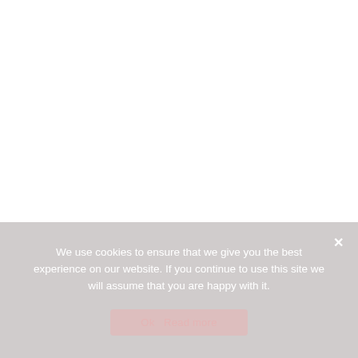We use cookies to ensure that we give you the best experience on our website. If you continue to use this site we will assume that you are happy with it.
Ok  Read more